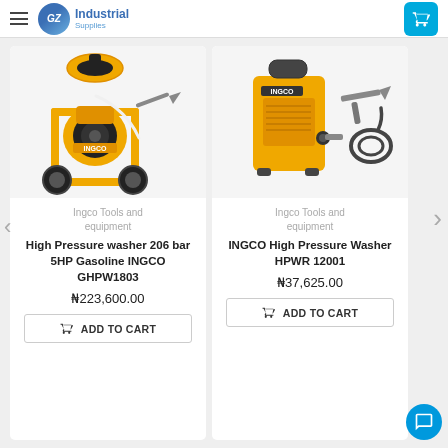GZ Industrial Supplies
[Figure (photo): INGCO High Pressure Washer 206 bar 5HP Gasoline GHPW1803 - yellow petrol-powered pressure washer on wheeled frame]
Ingco Tools and equipment
High Pressure washer 206 bar 5HP Gasoline INGCO GHPW1803
₦223,600.00
ADD TO CART
[Figure (photo): INGCO High Pressure Washer HPWR 12001 - compact yellow electric pressure washer with gun and hose]
Ingco Tools and equipment
INGCO High Pressure Washer HPWR 12001
₦37,625.00
ADD TO CART